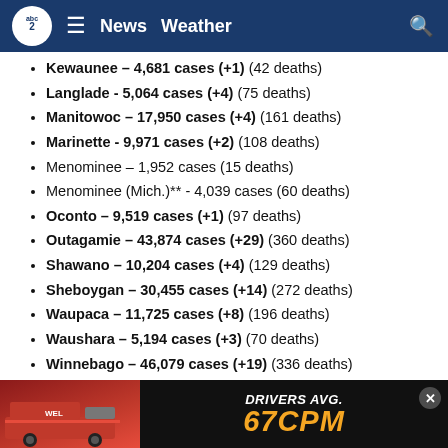abc2 | News | Weather
Kewaunee – 4,681 cases (+1) (42 deaths)
Langlade - 5,064 cases (+4) (75 deaths)
Manitowoc – 17,950 cases (+4) (161 deaths)
Marinette - 9,971 cases (+2) (108 deaths)
Menominee – 1,952 cases (15 deaths)
Menominee (Mich.)** - 4,039 cases (60 deaths)
Oconto – 9,519 cases (+1) (97 deaths)
Outagamie – 43,874 cases (+29) (360 deaths)
Shawano – 10,204 cases (+4) (129 deaths)
Sheboygan – 30,455 cases (+14) (272 deaths)
Waupaca – 11,725 cases (+8) (196 deaths)
Waushara – 5,194 cases (+3) (70 deaths)
Winnebago – 46,079 cases (+19) (336 deaths)
* You c… countie… Michig…
[Figure (other): Advertisement banner: DRIVERS AVG. 67CPM with truck image]